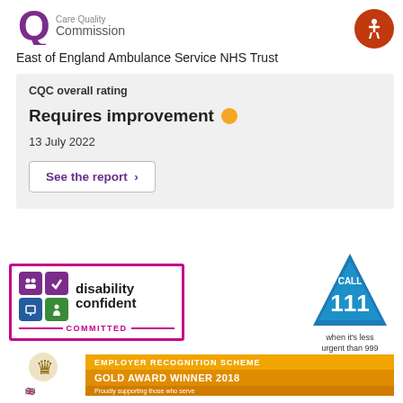[Figure (logo): Care Quality Commission logo with purple Q symbol and 'Commission' text]
East of England Ambulance Service NHS Trust
CQC overall rating
Requires improvement
13 July 2022
See the report ›
[Figure (logo): Disability Confident Committed badge with pink/magenta border and icons]
[Figure (logo): Call 111 when it's less urgent than 999 blue triangle badge]
[Figure (logo): Employer Recognition Scheme Gold Award Winner 2018 badge with military lion crest]